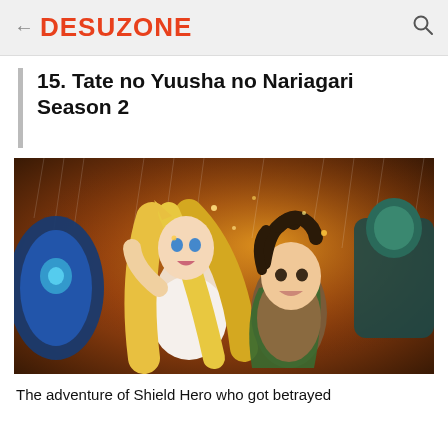← DESUZONE
15. Tate no Yuusha no Nariagari Season 2
[Figure (illustration): Anime promotional art for Tate no Yuusha no Nariagari Season 2 (The Rising of the Shield Hero Season 2), showing anime characters including a blonde girl and a dark-haired boy hero, with a shield visible on the left, against a fiery orange battle background.]
The adventure of Shield Hero who got betrayed